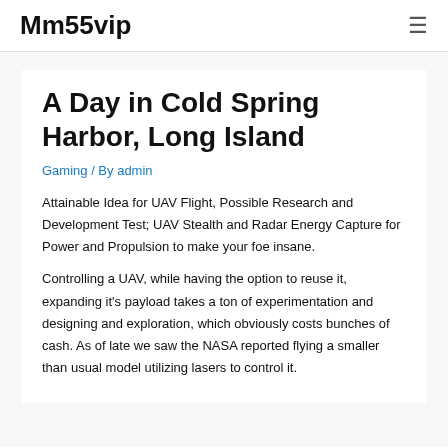Mm55vip
A Day in Cold Spring Harbor, Long Island
Gaming / By admin
Attainable Idea for UAV Flight, Possible Research and Development Test; UAV Stealth and Radar Energy Capture for Power and Propulsion to make your foe insane.
Controlling a UAV, while having the option to reuse it, expanding it's payload takes a ton of experimentation and designing and exploration, which obviously costs bunches of cash. As of late we saw the NASA reported flying a smaller than usual model utilizing lasers to control it.